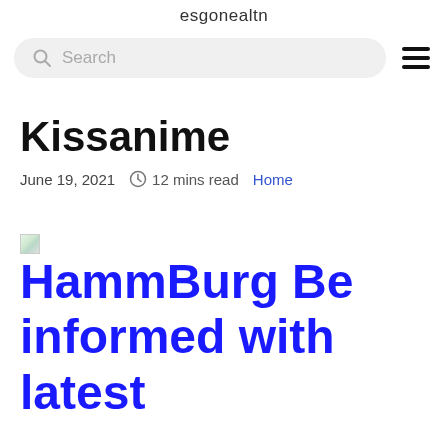esgonealtn
Search
Kissanime
June 19, 2021   12 mins read   Home
HammBurg Be informed with latest